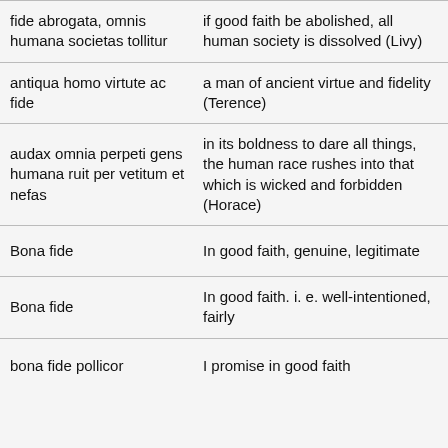| Latin | English |  |
| --- | --- | --- |
| fide abrogata, omnis humana societas tollitur | if good faith be abolished, all human society is dissolved (Livy) | ☐ |
| antiqua homo virtute ac fide | a man of ancient virtue and fidelity (Terence) | ☐ |
| audax omnia perpeti gens humana ruit per vetitum et nefas | in its boldness to dare all things, the human race rushes into that which is wicked and forbidden (Horace) | ☐ |
| Bona fide | In good faith, genuine, legitimate | ☐ |
| Bona fide | In good faith. i. e. well-intentioned, fairly | ☐ |
| bona fide pollicor | I promise in good faith | ☐ |